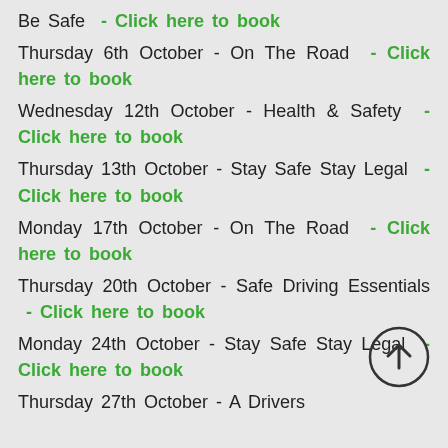Be Safe - Click here to book
Thursday 6th October - On The Road - Click here to book
Wednesday 12th October - Health & Safety - Click here to book
Thursday 13th October - Stay Safe Stay Legal - Click here to book
Monday 17th October - On The Road - Click here to book
Thursday 20th October - Safe Driving Essentials - Click here to book
Monday 24th October - Stay Safe Stay Legal - Click here to book
Thursday 27th October - A Drivers...
[Figure (other): Circular arrow button pointing upward (back to top navigation)]